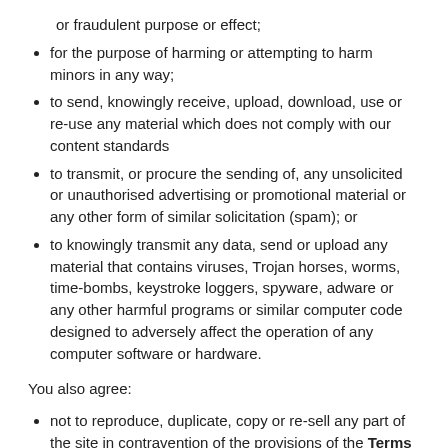or fraudulent purpose or effect;
for the purpose of harming or attempting to harm minors in any way;
to send, knowingly receive, upload, download, use or re-use any material which does not comply with our content standards
to transmit, or procure the sending of, any unsolicited or unauthorised advertising or promotional material or any other form of similar solicitation (spam); or
to knowingly transmit any data, send or upload any material that contains viruses, Trojan horses, worms, time-bombs, keystroke loggers, spyware, adware or any other harmful programs or similar computer code designed to adversely affect the operation of any computer software or hardware.
You also agree:
not to reproduce, duplicate, copy or re-sell any part of the site in contravention of the provisions of the Terms of Use;
not to access without authority, interfere with, damage or